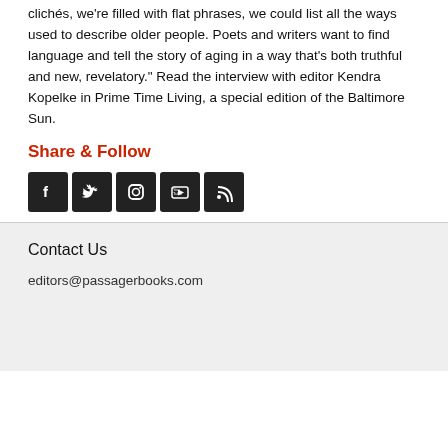clichés, we're filled with flat phrases, we could list all the ways used to describe older people. Poets and writers want to find language and tell the story of aging in a way that's both truthful and new, revelatory." Read the interview with editor Kendra Kopelke in Prime Time Living, a special edition of the Baltimore Sun.
Share & Follow
[Figure (other): Five social media icon buttons: Facebook, Twitter, Instagram, YouTube, RSS feed — all in dark square boxes]
Contact Us
editors@passagerbooks.com